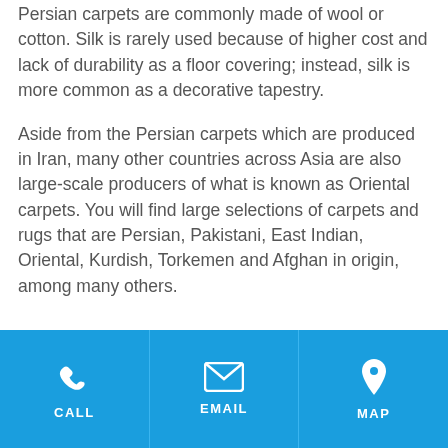Persian carpets are commonly made of wool or cotton. Silk is rarely used because of higher cost and lack of durability as a floor covering; instead, silk is more common as a decorative tapestry.
Aside from the Persian carpets which are produced in Iran, many other countries across Asia are also large-scale producers of what is known as Oriental carpets. You will find large selections of carpets and rugs that are Persian, Pakistani, East Indian, Oriental, Kurdish, Torkemen and Afghan in origin, among many others.
CALL | EMAIL | MAP